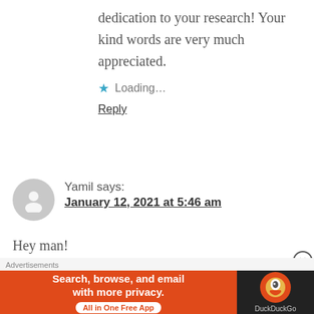dedication to your research! Your kind words are very much appreciated.
Loading...
Reply
Yamil says:
January 12, 2021 at 5:46 am
Hey man!
I just saw 3 little ninjas yesterday. Yep quite absurd but still enjoy it. So how old
[Figure (infographic): DuckDuckGo advertisement banner: orange background with text 'Search, browse, and email with more privacy. All in One Free App' and DuckDuckGo logo on dark background.]